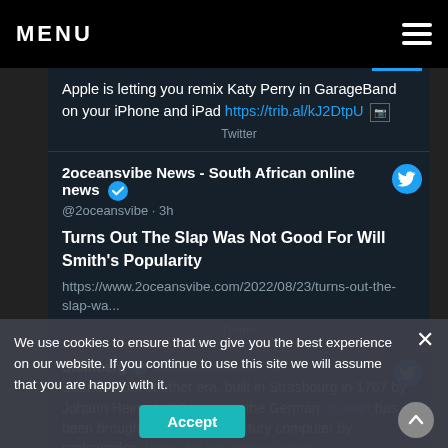MENU
Apple is letting you remix Katy Perry in GarageBand on your iPhone and iPad https://trib.al/kJ2DtpU
Twitter
2oceansvibe News - South African online news
@2oceansvibe · 3h
Turns Out The Slap Was Not Good For Will Smith's Popularity
https://www.2oceansvibe.com/2022/08/23/turns-out-the-slap-wa...
Twitter
Steinberg @SteinbergMedia · 3h
Sounds from another era, built in Strasbourg in 1767 by Johann Heinrich Silbermann, the German #Spinet has been brought to your 21st century computer by realsamples. https://bit.ly/GermanSpinet
We use cookies to ensure that we give you the best experience on our website. If you continue to use this site we will assume that you are happy with it.
Accept